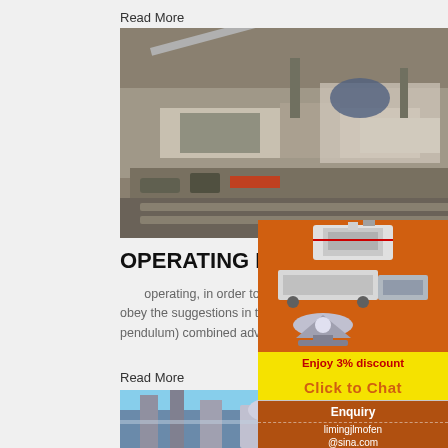Read More
[Figure (photo): Industrial mining/crushing machine equipment with conveyor belts and mechanical components in a facility]
OPERATING INSTRUCTION - To
operating, in order to ensure safety, must following points strictly as . 2 well as read care obey the suggestions in this operation manua series crusher is one kind of jaw crushers (co pendulum) combined advanced technology ar designed by our company. It is
Read More
[Figure (photo): Industrial plant with tall silos, scaffolding structures, and blue sky background]
[Figure (photo): Sidebar advertisement showing three types of crushing/grinding machines on orange background with discount offer and contact info]
Enjoy 3% discount
Click to Chat
Enquiry
limingjlmofen @sina.com